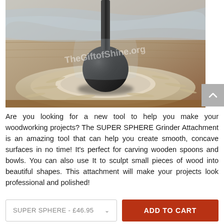[Figure (photo): A black spherical grinder attachment being used on a piece of wood. Wood shavings are scattered around. Watermark reads 'TheGiftofShine.org' in the center of the image.]
Are you looking for a new tool to help you make your woodworking projects? The SUPER SPHERE Grinder Attachment is an amazing tool that can help you create smooth, concave surfaces in no time! It's perfect for carving wooden spoons and bowls. You can also use It to sculpt small pieces of wood into beautiful shapes. This attachment will make your projects look professional and polished!
SUPER SPHERE - £46.95
ADD TO CART